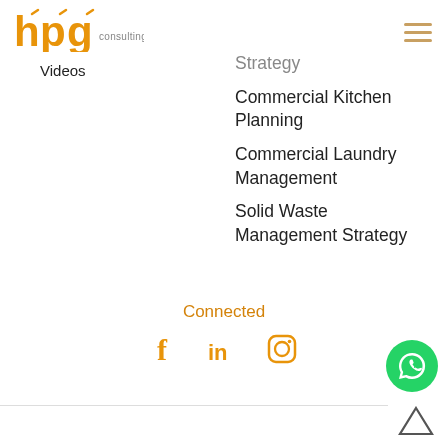[Figure (logo): HPG Consulting logo with orange stylized letters and 'consulting' text]
Videos
Strategy (partially clipped)
Commercial Kitchen Planning
Commercial Laundry Management
Solid Waste Management Strategy
Connected
[Figure (infographic): Social media icons: Facebook, LinkedIn, Instagram in orange; WhatsApp green circle button; up arrow triangle]